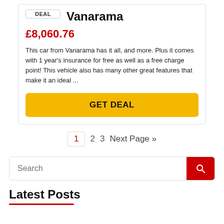DEAL
Vanarama
£8,060.76
This car from Vanarama has it all, and more. Plus it comes with 1 year's insurance for free as well as a free charge point! This vehicle also has many other great features that make it an ideal ...
GET DEAL
1  2  3  Next Page »
Search
Latest Posts